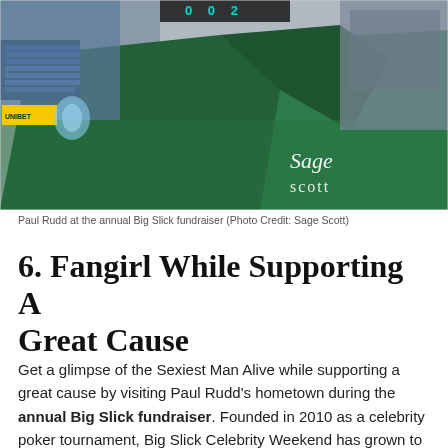[Figure (photo): Photo of Paul Rudd at the annual Big Slick fundraiser at a baseball stadium with a large green wall. Text 'Sage scott' is visible in the lower right of the image. Scoreboard shows 0 0 2 at top.]
Paul Rudd at the annual Big Slick fundraiser (Photo Credit: Sage Scott)
6. Fangirl While Supporting A Great Cause
Get a glimpse of the Sexiest Man Alive while supporting a great cause by visiting Paul Rudd's hometown during the annual Big Slick fundraiser. Founded in 2010 as a celebrity poker tournament, Big Slick Celebrity Weekend has grown to so much more. In partnership with fellow Kansas Citians Jason Sudeikis, Rob Riggle, and Eric Stonestreet, the event attracts stars from around the country for an action-